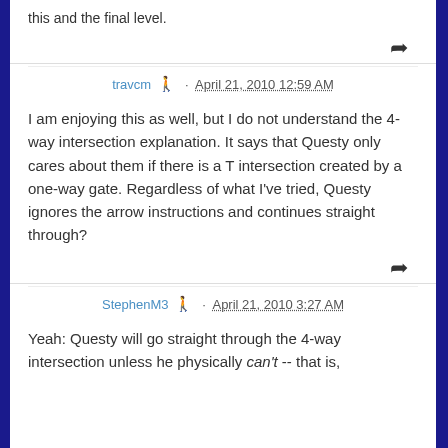this and the final level.
travcm · April 21, 2010 12:59 AM
I am enjoying this as well, but I do not understand the 4-way intersection explanation. It says that Questy only cares about them if there is a T intersection created by a one-way gate. Regardless of what I've tried, Questy ignores the arrow instructions and continues straight through?
StephenM3 · April 21, 2010 3:27 AM
Yeah: Questy will go straight through the 4-way intersection unless he physically can't -- that is,